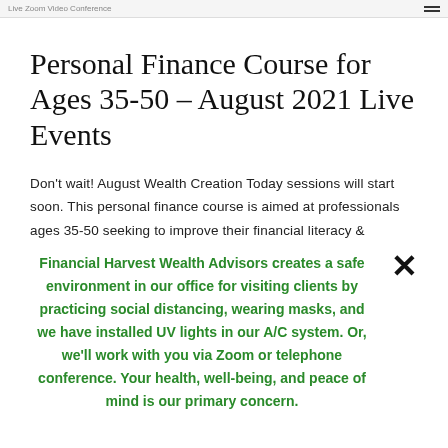Live Zoom Video Conference
Personal Finance Course for Ages 35-50 – August 2021 Live Events
Don't wait! August Wealth Creation Today sessions will start soon. This personal finance course is aimed at professionals ages 35-50 seeking to improve their financial literacy &
Financial Harvest Wealth Advisors creates a safe environment in our office for visiting clients by practicing social distancing, wearing masks, and we have installed UV lights in our A/C system. Or, we'll work with you via Zoom or telephone conference. Your health, well-being, and peace of mind is our primary concern.